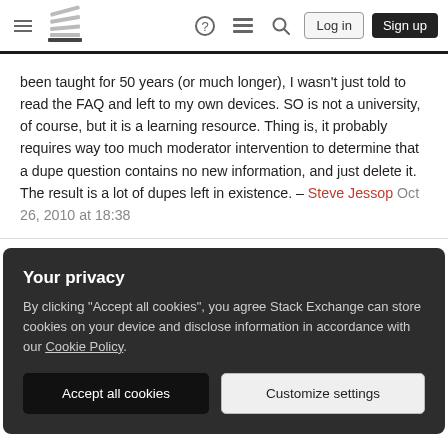Stack Exchange navigation header with hamburger menu, logo, help, chat, search, Log in, Sign up
been taught for 50 years (or much longer), I wasn't just told to read the FAQ and left to my own devices. SO is not a university, of course, but it is a learning resource. Thing is, it probably requires way too much moderator intervention to determine that a dupe question contains no new information, and just delete it. The result is a lot of dupes left in existence. – Steve Jessop Oct 26, 2010 at 18:38
I think the ideal is that one of these annoying dupe questions should (a) be quickly closed as a duplicate, (b) wrong answers should be commented to say "this is wrong, check the answer to the dupe", (c) the dupe target should contain a good answer and good
Your privacy
By clicking "Accept all cookies", you agree Stack Exchange can store cookies on your device and disclose information in accordance with our Cookie Policy.
Accept all cookies
Customize settings